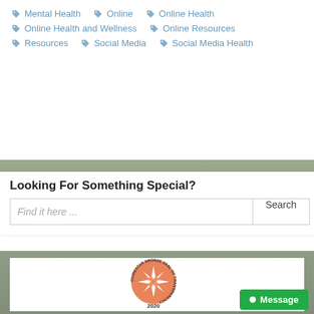Mental Health
Online
Online Health
Online Health and Wellness
Online Resources
Resources
Social Media
Social Media Health
Looking For Something Special?
Find it here ...
[Figure (logo): GuideStar Bronze Seal of Transparency 2020 — circular orange badge with white starburst in center, text around the edge reading GUIDESTAR BRONZE SEAL OF TRANSPARENCY, and 2020 below]
Message